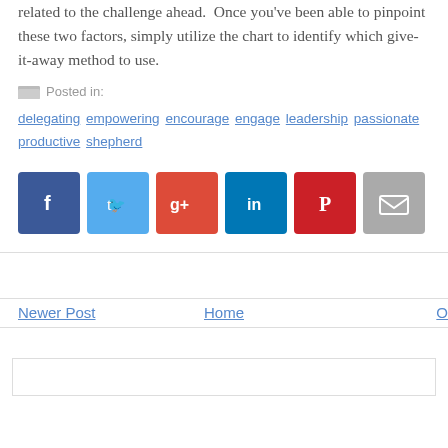related to the challenge ahead.  Once you've been able to pinpoint these two factors, simply utilize the chart to identify which give-it-away method to use.
Posted in:
delegating  empowering  encourage  engage  leadership  passionate  productive  shepherd
[Figure (infographic): Row of 6 social share buttons: Facebook (blue), Twitter (light blue), Google+ (red), LinkedIn (blue), Pinterest (red), Email (grey)]
Newer Post    Home    O...